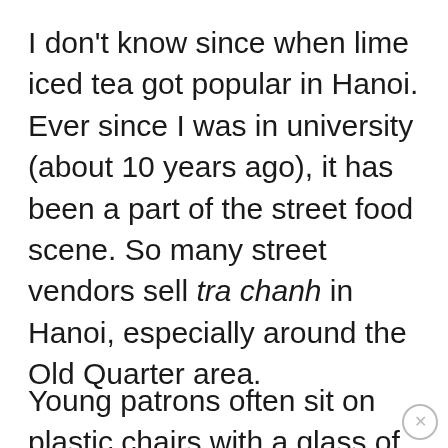I don't know since when lime iced tea got popular in Hanoi. Ever since I was in university (about 10 years ago), it has been a part of the street food scene. So many street vendors sell tra chanh in Hanoi, especially around the Old Quarter area.
Young patrons often sit on plastic chairs with a glass of lime iced tea in front of them, munching on some sunflower seeds and chit-chatting all night. People sometimes order tra